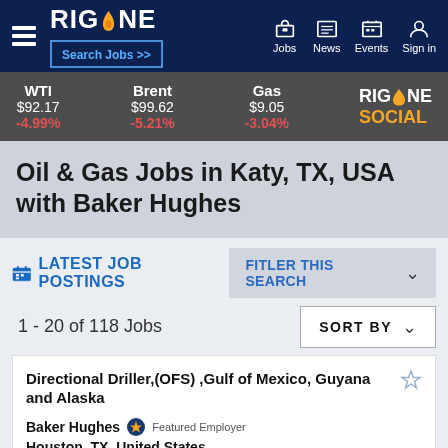RIGZONE - Search Jobs >> | Jobs | News | Events | Sign in
WTI $92.17 -4.99% | Brent $99.62 -5.21% | Gas $9.05 -3.04% | RIGZONE SOCIAL
Oil & Gas Jobs in Katy, TX, USA with Baker Hughes
LATEST JOB POSTINGS
1 - 20 of 118 Jobs
Directional Driller,(OFS) ,Gulf of Mexico, Guyana and Alaska
Baker Hughes Featured Employer
Houston, TX, United States
as assigned. Conducts all business activities in